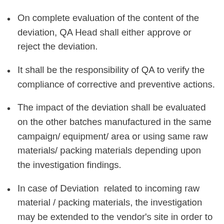On complete evaluation of the content of the deviation, QA Head shall either approve or reject the deviation.
It shall be the responsibility of QA to verify the compliance of corrective and preventive actions.
The impact of the deviation shall be evaluated on the other batches manufactured in the same campaign/ equipment/ area or using same raw materials/ packing materials depending upon the investigation findings.
In case of Deviation  related to incoming raw material / packing materials, the investigation may be extended to the vendor's site in order to find out